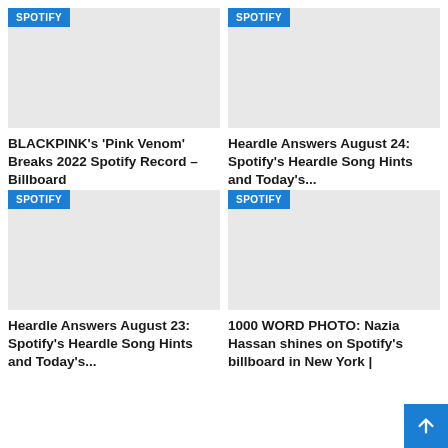[Figure (screenshot): Article card image placeholder with SPOTIFY badge - top left]
BLACKPINK's 'Pink Venom' Breaks 2022 Spotify Record – Billboard
[Figure (screenshot): Article card image placeholder with SPOTIFY badge - top right]
Heardle Answers August 24: Spotify's Heardle Song Hints and Today's...
[Figure (screenshot): Article card image placeholder with SPOTIFY badge - bottom left]
Heardle Answers August 23: Spotify's Heardle Song Hints and Today's...
[Figure (screenshot): Article card image placeholder with SPOTIFY badge - bottom right]
1000 WORD PHOTO: Nazia Hassan shines on Spotify's billboard in New York |